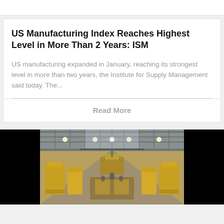US Manufacturing Index Reaches Highest Level in More Than 2 Years: ISM
US manufacturing expanded in January, reaching its strongest level in more than two years, the Institute for Supply Management said today. The...
Read More
[Figure (photo): Aerial interior view of a large industrial manufacturing facility with yellow machinery and equipment on the factory floor, seen from above, with black side panels flanking the image.]